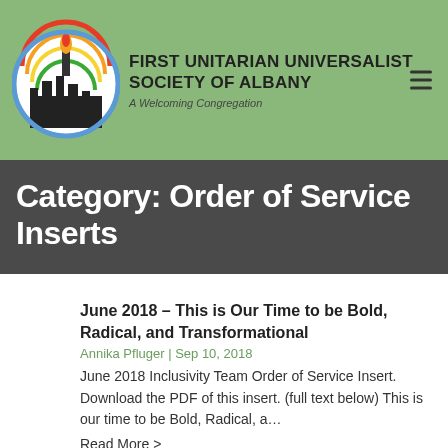FIRST UNITARIAN UNIVERSALIST SOCIETY OF ALBANY
A Welcoming Congregation
Category: Order of Service Inserts
June 2018 – This is Our Time to be Bold, Radical, and Transformational
Annika Pfluger | Sep 10, 2018
June 2018 Inclusivity Team Order of Service Insert. Download the PDF of this insert. (full text below) This is our time to be Bold, Radical, a…
Read More >